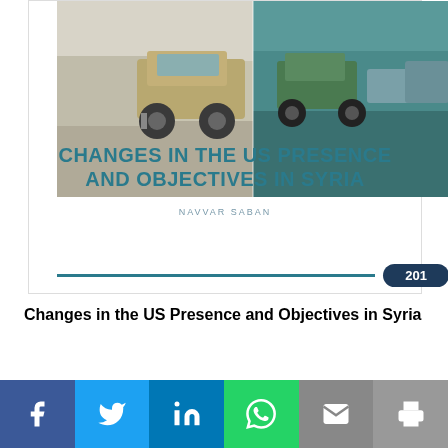[Figure (photo): Military vehicle convoy on road, split image showing desert/grey tones on left and teal-tinted road scene on right]
CHANGES IN THE US PRESENCE AND OBJECTIVES IN SYRIA
NAVVAR SABAN
201
Changes in the US Presence and Objectives in Syria
[Figure (infographic): Social share bar with Facebook, Twitter, LinkedIn, WhatsApp, Email, and Print icons]